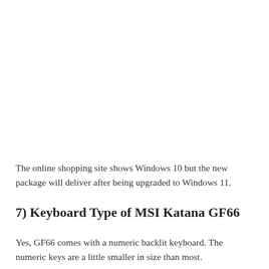The online shopping site shows Windows 10 but the new package will deliver after being upgraded to Windows 11.
7) Keyboard Type of MSI Katana GF66
Yes, GF66 comes with a numeric backlit keyboard. The numeric keys are a little smaller in size than most.